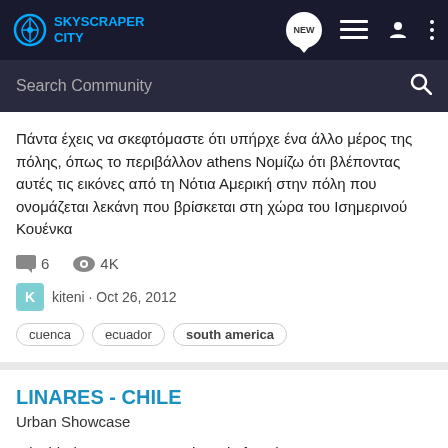SKYSCRAPER CITY
Πάντα έχεις να σκεφτόμαστε ότι υπήρχε ένα άλλο μέρος της πόλης, όπως το περιβάλλον athens Νομίζω ότι βλέποντας αυτές τις εικόνες από τη Νότια Αμερική στην πόλη που ονομάζεται λεκάνη που βρίσκεται στη χώρα του Ισημερινού Κουένκα
6 comments · 4K views
kiteni · Oct 26, 2012
cuenca · ecuador · south america
LINARES - CHILE
Urban Showcase
I decided to create a new thread of my home town. Its population is about 100.000, and it is located in the central